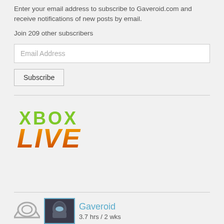Enter your email address to subscribe to Gaveroid.com and receive notifications of new posts by email.
Join 209 other subscribers
Email Address
Subscribe
[Figure (logo): Xbox LIVE logo — 'XBOX' in green bold text above 'LIVE' in large bold italic orange-gradient text]
[Figure (infographic): Bottom section showing Steam logo icon, a Halo character profile image with teal border, 'Gaveroid' username in teal, and stats '3.7 hrs / 2 wks']